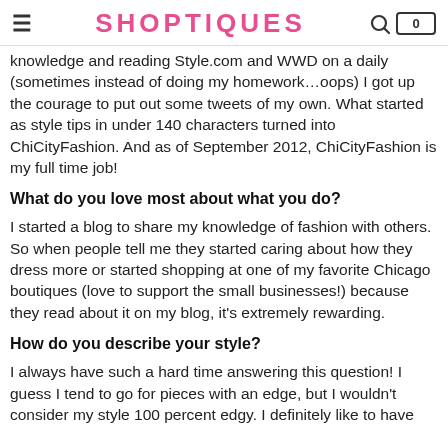SHOPTIQUES
knowledge and reading Style.com and WWD on a daily (sometimes instead of doing my homework…oops) I got up the courage to put out some tweets of my own. What started as style tips in under 140 characters turned into ChiCityFashion. And as of September 2012, ChiCityFashion is my full time job!
What do you love most about what you do?
I started a blog to share my knowledge of fashion with others. So when people tell me they started caring about how they dress more or started shopping at one of my favorite Chicago boutiques (love to support the small businesses!) because they read about it on my blog, it's extremely rewarding.
How do you describe your style?
I always have such a hard time answering this question! I guess I tend to go for pieces with an edge, but I wouldn't consider my style 100 percent edgy. I definitely like to have